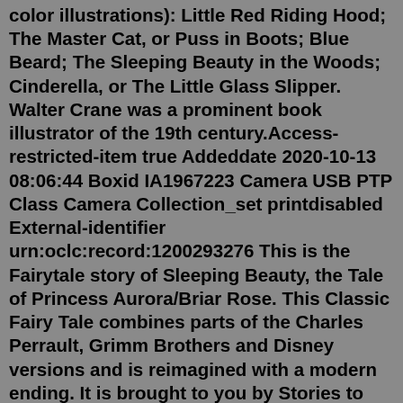color illustrations): Little Red Riding Hood; The Master Cat, or Puss in Boots; Blue Beard; The Sleeping Beauty in the Woods; Cinderella, or The Little Glass Slipper. Walter Crane was a prominent book illustrator of the 19th century.Access-restricted-item true Addeddate 2020-10-13 08:06:44 Boxid IA1967223 Camera USB PTP Class Camera Collection_set printdisabled External-identifier urn:oclc:record:1200293276 This is the Fairytale story of Sleeping Beauty, the Tale of Princess Aurora/Briar Rose. This Classic Fairy Tale combines parts of the Charles Perrault, Grimm Brothers and Disney versions and is reimagined with a modern ending. It is brought to you by Stories to Grow by. New #MeToo version! Inspire Today's Girls! It is among the most beautiful and enduring of all stories, and has inspired hundreds of adaptations, including Disney's Sleeping Beauty and Maleficent. This edition combines Søren Filipski's lively modern translation with two famous sets of vintage illustrations: E. Monnin's lavish engravings from the great 1843